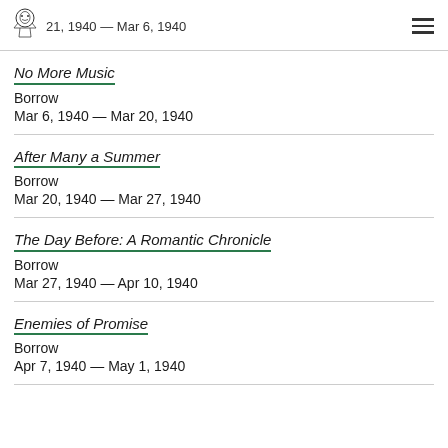21, 1940 — Mar 6, 1940
No More Music
Borrow
Mar 6, 1940 — Mar 20, 1940
After Many a Summer
Borrow
Mar 20, 1940 — Mar 27, 1940
The Day Before: A Romantic Chronicle
Borrow
Mar 27, 1940 — Apr 10, 1940
Enemies of Promise
Borrow
Apr 7, 1940 — May 1, 1940